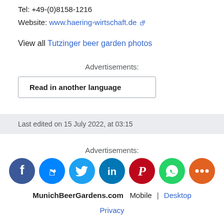Tel: +49-(0)8158-1216
Website: www.haering-wirtschaft.de
View all Tutzinger beer garden photos
Advertisements:
Read in another language
Last edited on 15 July 2022, at 03:15
Advertisements:
[Figure (other): Social sharing icons: Facebook, Messenger, Twitter, LinkedIn, Pinterest, WhatsApp, More]
MunichBeerGardens.com  Mobile | Desktop
Privacy